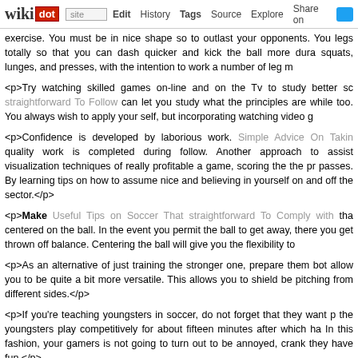wikidot | site | Edit | History | Tags | Source | Explore | Share on [Twitter]
exercise. You must be in nice shape so to outlast your opponents. You legs totally so that you can dash quicker and kick the ball more dura squats, lunges, and presses, with the intention to work a number of leg m
<p>Try watching skilled games on-line and on the Tv to study better sc straightforward To Follow can let you study what the principles are while too. You always wish to apply your self, but incorporating watching video g
<p>Confidence is developed by laborious work. Simple Advice On Takin quality work is completed during follow. Another approach to assist visualization techniques of really profitable a game, scoring the the pr passes. By learning tips on how to assume nice and believing in yourself on and off the sector.</p>
<p>Make Useful Tips on Soccer That straightforward To Comply with tha centered on the ball. In the event you permit the ball to get away, there you get thrown off balance. Centering the ball will give you the flexibility to
<p>As an alternative of just training the stronger one, prepare them bot allow you to be quite a bit more versatile. This allows you to shield be pitching from different sides.</p>
<p>If you're teaching youngsters in soccer, do not forget that they want p the youngsters play competitively for about fifteen minutes after which ha In this fashion, your gamers is not going to turn out to be annoyed, crank they have fun.</p>
<p>In case you wish to be higher at enjoying soccer, then you need continue to study extra about the sport. It is best to really by no mea Wh th t t t d th t th i i l d d f